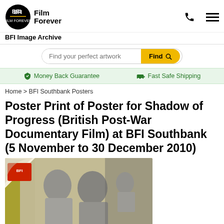[Figure (logo): BFI Film Forever logo with circular BFI emblem and 'Film Forever' text beside it]
BFI Image Archive
Find your perfect artwork  Find
Money Back Guarantee   Fast Safe Shipping
Home > BFI Southbank Posters
Poster Print of Poster for Shadow of Progress (British Post-War Documentary Film) at BFI Southbank (5 November to 30 December 2010)
[Figure (photo): Black and white photo of two boys smiling, overlaid on a yellow-green poster background with a red BFI logo in the top-left corner]